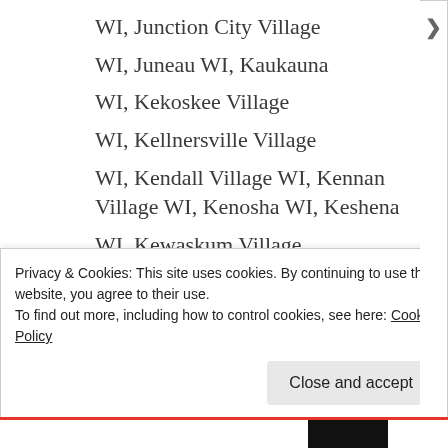WI, Junction City Village
WI, Juneau WI, Kaukauna
WI, Kekoskee Village
WI, Kellnersville Village
WI, Kendall Village WI, Kennan Village WI, Kenosha WI, Keshena
WI, Kewaskum Village
WI, Kewaunee WI, Kiel
WI, Kimberly Village WI, Kingston Village WI, Knapp Village
Privacy & Cookies: This site uses cookies. By continuing to use this website, you agree to their use.
To find out more, including how to control cookies, see here: Cookie Policy